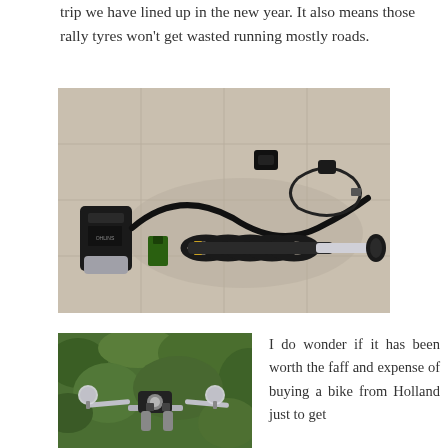trip we have lined up in the new year. It also means those rally tyres won't get wasted running mostly roads.
[Figure (photo): A motorcycle rear shock absorber/coilover unit with remote reservoir, hose, and clamps laid out on a tiled floor]
[Figure (photo): Motorcycle handlebars with mirrors and green foliage background]
I do wonder if it has been worth the faff and expense of buying a bike from Holland just to get